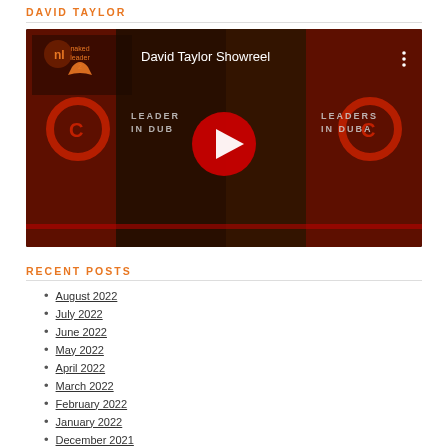DAVID TAYLOR
[Figure (screenshot): YouTube video thumbnail showing 'David Taylor Showreel' with a dark background featuring 'LEADERS IN DUBAI' text and a red play button in the center. The Naked Leader 2 logo appears in the upper left.]
RECENT POSTS
August 2022
July 2022
June 2022
May 2022
April 2022
March 2022
February 2022
January 2022
December 2021